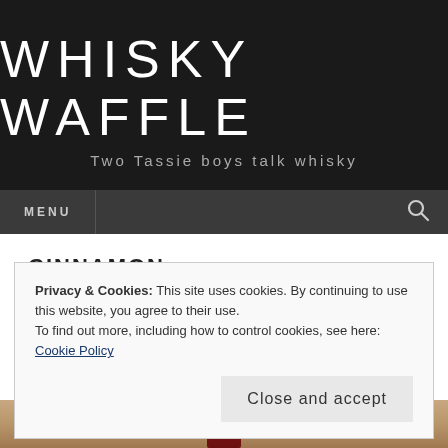WHISKY WAFFLE
Two Tassie boys talk whisky
MENU
CINNAMON
Privacy & Cookies: This site uses cookies. By continuing to use this website, you agree to their use.
To find out more, including how to control cookies, see here: Cookie Policy
Close and accept
[Figure (photo): Bottom portion of a whisky bottle on a wooden surface, partially visible at the bottom of the page]